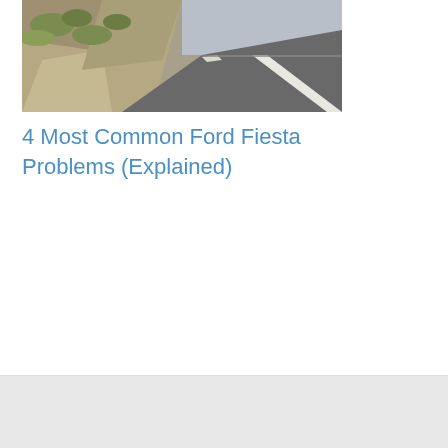[Figure (photo): A curved road with a rocky cliff edge, showing asphalt road with white line markings and rocky terrain/hillside on the left, photographed from a driving perspective.]
4 Most Common Ford Fiesta Problems (Explained)